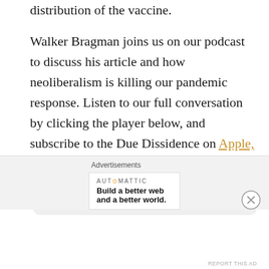distribution of the vaccine.
Walker Bragman joins us on our podcast to discuss his article and how neoliberalism is killing our pandemic response. Listen to our full conversation by clicking the player below, and subscribe to the Due Dissidence on Apple, Stitcher, Spotify, Castbox, Google Podcasts, or any major podcast player.
[Figure (other): Audio player widget showing 0:00 / 46:01 with play button, progress bar, volume icon, and more options icon]
Advertisements
[Figure (other): Advertisement by Automattic: Build a better web and a better world.]